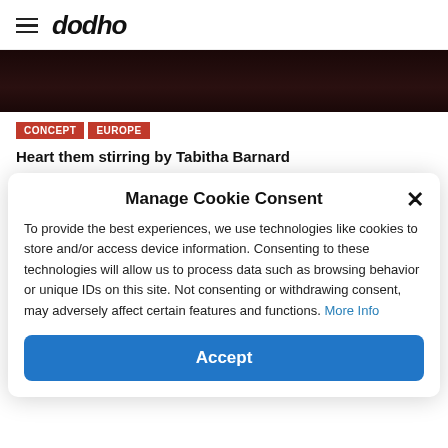dodho
[Figure (photo): Dark/black background hero image strip at top of article]
CONCEPT
EUROPE
Heart them stirring by Tabitha Barnard
Manage Cookie Consent
To provide the best experiences, we use technologies like cookies to store and/or access device information. Consenting to these technologies will allow us to process data such as browsing behavior or unique IDs on this site. Not consenting or withdrawing consent, may adversely affect certain features and functions. More Info